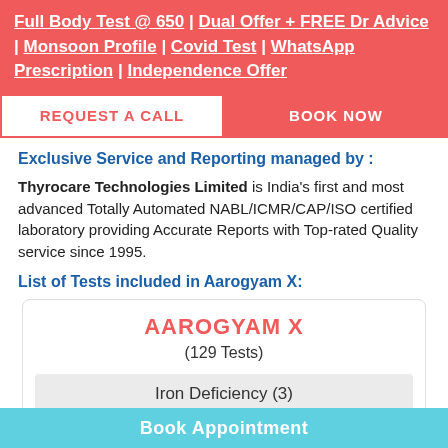Full Body Test @ 650 | Dual Offer + FREE Dr Advice | Monsoon Profile | Covid Test | WhatsApp Prescription | Independence Offer
[Figure (screenshot): Two buttons: REQUEST A CALL (white with red border) and BOOK NOW (red)]
Exclusive Service and Reporting managed by :
Thyrocare Technologies Limited is India's first and most advanced Totally Automated NABL/ICMR/CAP/ISO certified laboratory providing Accurate Reports with Top-rated Quality service since 1995.
List of Tests included in Aarogyam X:
| AAROGYAM X | (129 Tests) | Iron Deficiency (3) | % Transferrin Saturation |
| --- | --- | --- | --- |
Book Appointment